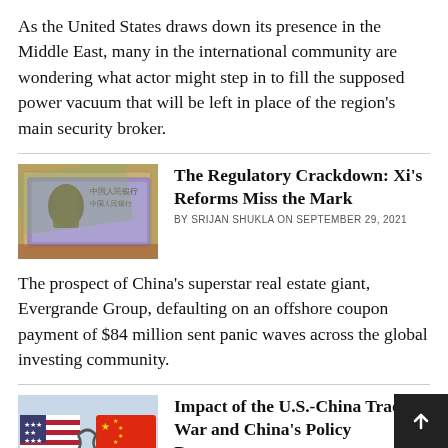As the United States draws down its presence in the Middle East, many in the international community are wondering what actor might step in to fill the supposed power vacuum that will be left in place of the region’s main security broker.
[Figure (photo): Chinese yuan banknotes with Mao Zedong portrait]
The Regulatory Crackdown: Xi’s Reforms Miss the Mark
BY SRIJAN SHUKLA ON SEPTEMBER 29, 2021
The prospect of China’s superstar real estate giant, Evergrande Group, defaulting on an offshore coupon payment of $84 million sent panic waves across the global investing community.
[Figure (photo): US and China flags intertwined, representing trade war]
Impact of the U.S.-China Trade War and China’s Policy Responses
BY TEHREEM NIHAR ON DECEMBER 7,